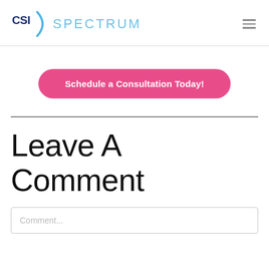CSI SPECTRUM
Schedule a Consultation Today!
Leave A Comment
Comment...